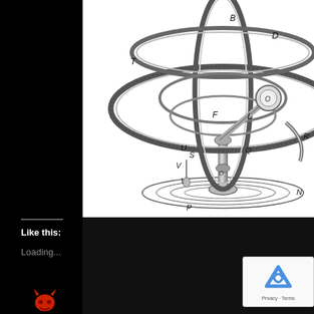[Figure (illustration): Historical engraving of an armillary sphere / astronomical instrument with labeled parts including letters T, D, B, F, L, U, S, V, W, P, Q, O, R, N on various rings, supports, and base components. Black and white illustration on white background.]
Like this:
Loading...
[Figure (logo): Small devil/demon emoji icon in red at bottom left of dark sidebar]
[Figure (screenshot): reCAPTCHA widget box with blue recycling-style arrows logo and 'Privacy - Terms' text at bottom right]